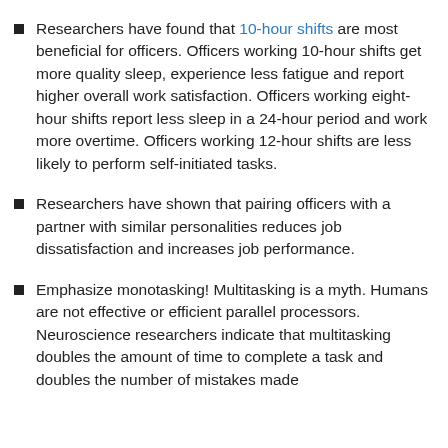Researchers have found that 10-hour shifts are most beneficial for officers. Officers working 10-hour shifts get more quality sleep, experience less fatigue and report higher overall work satisfaction. Officers working eight-hour shifts report less sleep in a 24-hour period and work more overtime. Officers working 12-hour shifts are less likely to perform self-initiated tasks.
Researchers have shown that pairing officers with a partner with similar personalities reduces job dissatisfaction and increases job performance.
Emphasize monotasking! Multitasking is a myth. Humans are not effective or efficient parallel processors. Neuroscience researchers indicate that multitasking doubles the amount of time to complete a task and doubles the number of mistakes made